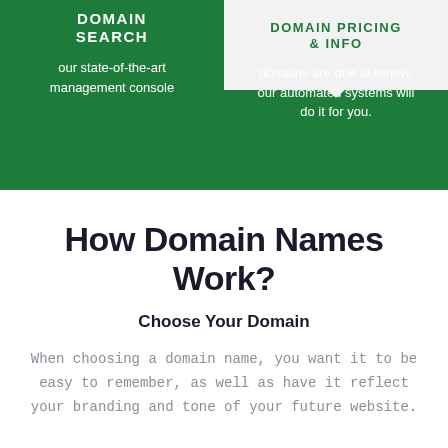DOMAIN SEARCH
DOMAIN PRICING & INFO
our state-of-the-art management console
domains are due to renew, our automated systems will do it for you.
How Domain Names Work?
Choose Your Domain
When choosing a domain name, you want it to be easy to remember, as well as have it reflect your branding and tone of your future website.